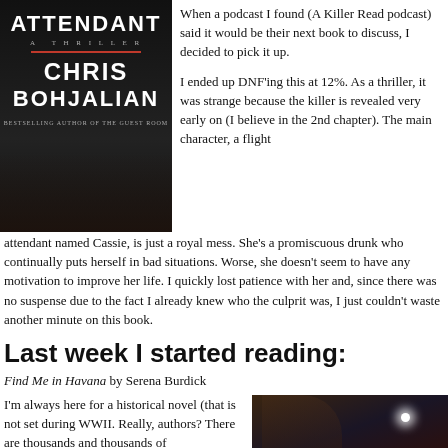[Figure (illustration): Book cover of 'The Flight Attendant' by Chris Bohjalian, dark background with white and red text]
When a podcast I found (A Killer Read podcast) said it would be their next book to discuss, I decided to pick it up.
I ended up DNF'ing this at 12%. As a thriller, it was strange because the killer is revealed very early on (I believe in the 2nd chapter). The main character, a flight attendant named Cassie, is just a royal mess. She's a promiscuous drunk who continually puts herself in bad situations. Worse, she doesn't seem to have any motivation to improve her life. I quickly lost patience with her and, since there was no suspense due to the fact I already knew who the culprit was, I just couldn't waste another minute on this book.
Last week I started reading:
Find Me in Havana by Serena Burdick
I'm always here for a historical novel (that is not set during WWII. Really, authors? There are thousands and thousands of
[Figure (illustration): Book cover of 'Find Me in Havana', dark atmospheric cover with a woman and the text FIND ME visible]